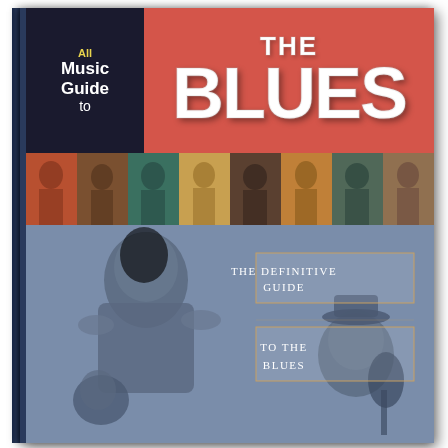[Figure (illustration): Book cover of 'All Music Guide to the Blues'. Top left black panel shows 'All Music Guide to' in white and yellow text. Top right salmon/red panel shows 'THE BLUES' in large distressed white letters. A horizontal strip of tinted portrait photos of blues musicians runs across the middle. The lower portion shows a large blue-tinted background image of blues musicians performing, with two overlapping rectangular boxes on the right side containing the text 'THE DEFINITIVE GUIDE' and 'TO THE BLUES' in uppercase serif lettering.]